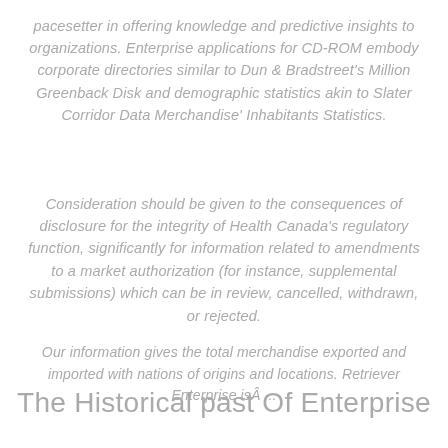pacesetter in offering knowledge and predictive insights to organizations. Enterprise applications for CD-ROM embody corporate directories similar to Dun & Bradstreet's Million Greenback Disk and demographic statistics akin to Slater Corridor Data Merchandise' Inhabitants Statistics.
Consideration should be given to the consequences of disclosure for the integrity of Health Canada's regulatory function, significantly for information related to amendments to a market authorization (for instance, supplemental submissions) which can be in review, cancelled, withdrawn, or rejected.
Our information gives the total merchandise exported and imported with nations of origins and locations. Retriever Enterprise isÂ ...
The Historical past Of Enterprise